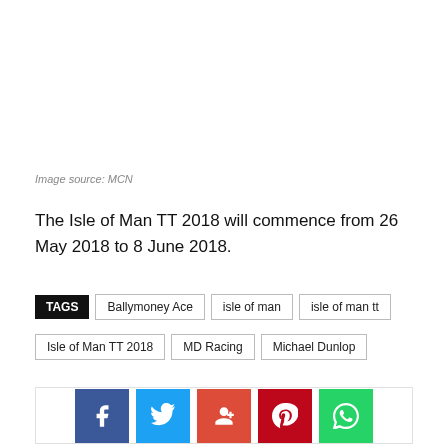Image source: MCN
The Isle of Man TT 2018 will commence from 26 May 2018 to 8 June 2018.
TAGS  Ballymoney Ace  isle of man  isle of man tt  Isle of Man TT 2018  MD Racing  Michael Dunlop
[Figure (infographic): Social share buttons: Facebook, Twitter, Google+, Pinterest, WhatsApp]